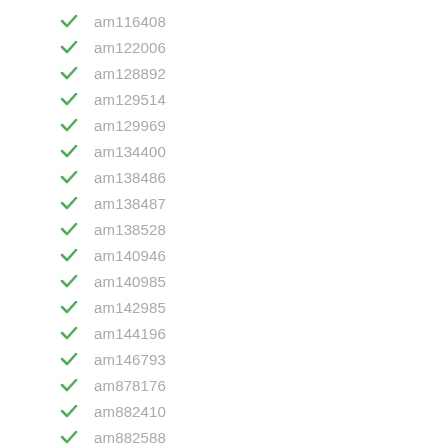am116408
am122006
am128892
am129514
am129969
am134400
am138486
am138487
am138528
am140946
am140985
am142985
am144196
am146793
am878176
am882410
am882588
anhänger